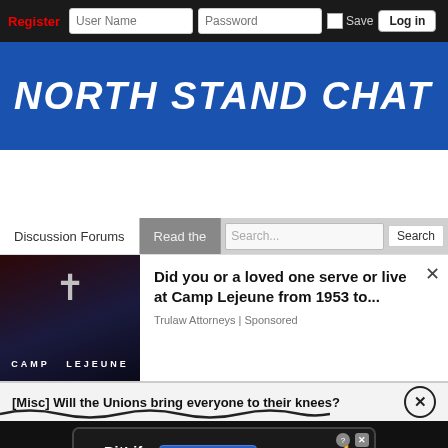Register | User Name | Password | Save | Log in
[Figure (logo): North Stand Chat website logo - white italic bold text on blue background]
[Figure (screenshot): Website navigation: Discussion Forums tab, Read the... tab, Search bar with Search button]
[Figure (infographic): Camp Lejeune advertisement: Did you or a loved one serve or live at Camp Lejeune from 1953 to... - Trulaw Attorneys | Sponsored]
[Misc] Will the Unions bring everyone to their knees?
[Figure (screenshot): BitLife NOW WITH GOD MODE advertisement banner]